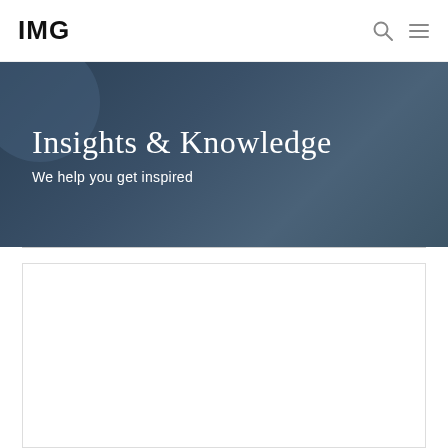IMG
Insights & Knowledge
We help you get inspired